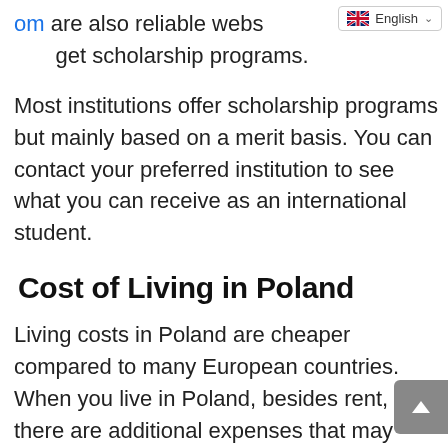om are also reliable websites where you can get scholarship programs.
Most institutions offer scholarship programs but mainly based on a merit basis. You can contact your preferred institution to see what you can receive as an international student.
Cost of Living in Poland
Living costs in Poland are cheaper compared to many European countries. When you live in Poland, besides rent, there are additional expenses that may come up in the process. Basics such as electricity, heating, water, and garbage can total to around 155 EUR per month for an 85 square meter apartment. Most of the property owners also require a